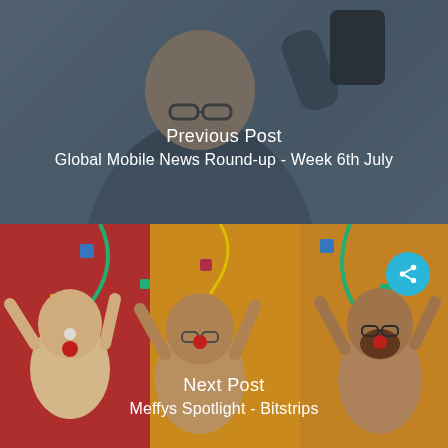[Figure (photo): A man in a suit holding up a smartphone toward the camera, taking a selfie, in an office setting with a grey/blue dark overlay]
Previous Post
Global Mobile News Round-up - Week 6th July
[Figure (illustration): Colorful cartoon illustration of four animated characters celebrating with raised hands, confetti and balloons in background]
Next Post
Meffys Spotlight - Bitstrips